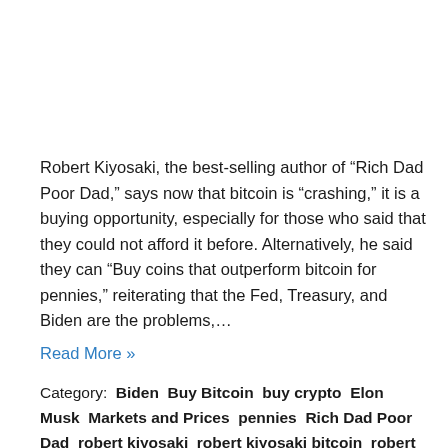Robert Kiyosaki, the best-selling author of “Rich Dad Poor Dad,” says now that bitcoin is “crashing,” it is a buying opportunity, especially for those who said that they could not afford it before. Alternatively, he said they can “Buy coins that outperform bitcoin for pennies,” reiterating that the Fed, Treasury, and Biden are the problems,…
Read More »
Category: Biden Buy Bitcoin buy crypto Elon Musk Markets and Prices pennies Rich Dad Poor Dad robert kiyosaki robert kiyosaki bitcoin robert kiyosaki crypto robert kiyosaki cryptocurrency the fed Treasury Tags: Biden, Buy Bitcoin, buy crypto Elon Musk Markets and Prices pennies Rich Dad